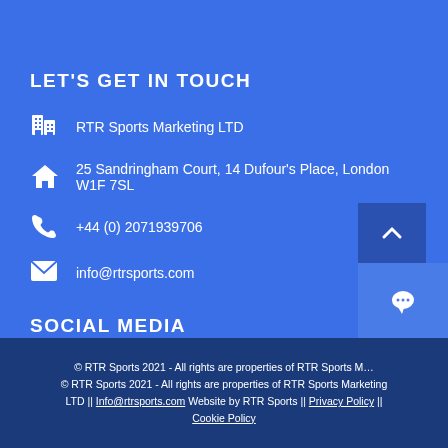LET'S GET IN TOUCH
RTR Sports Marketing LTD
25 Sandringham Court, 14 Dufour's Place, London W1F 7SL
+44 (0) 2071939706
info@rtrsports.com
SOCIAL MEDIA
[Figure (illustration): Social media icons: Facebook, LinkedIn, Twitter in circular buttons]
© RTR Sports 2021 - All rights are properties of RTR Sports Marketing LTD || Info@rtrsports.com Website by RTR Sports || Privacy Policy || Cookie Policy